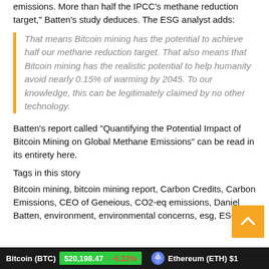emissions. More than half the IPCC's methane reduction target," Batten's study deduces. The ESG analyst adds:
That means Bitcoin mining has the potential to achieve half our methane reduction target. That also means that Bitcoin mining has the realistic potential to help humanity avoid nearly 0.15% of warming by 2045. To our knowledge, this can be legitimately claimed by no other technology.
Batten's report called “Quantifying the Potential Impact of Bitcoin Mining on Global Methane Emissions” can be read in its entirety here.
Tags in this story
Bitcoin mining, bitcoin mining report, Carbon Credits, Carbon Emissions, CEO of Geneious, CO2-eq emissions, Daniel Batten, environment, environmental concerns, esg, ESG
Bitcoin (BTC) $20,198.47 ↓ -5.22%  Ethereum (ETH) $1...